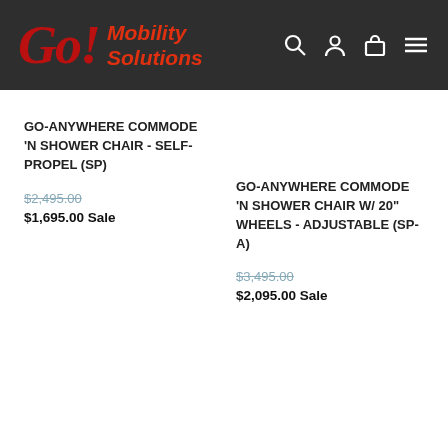Go! Mobility Solutions
GO-ANYWHERE COMMODE 'N SHOWER CHAIR - SELF-PROPEL (SP)
$2,495.00
$1,695.00 Sale
GO-ANYWHERE COMMODE 'N SHOWER CHAIR W/ 20" WHEELS - ADJUSTABLE (SP-A)
$3,495.00
$2,095.00 Sale